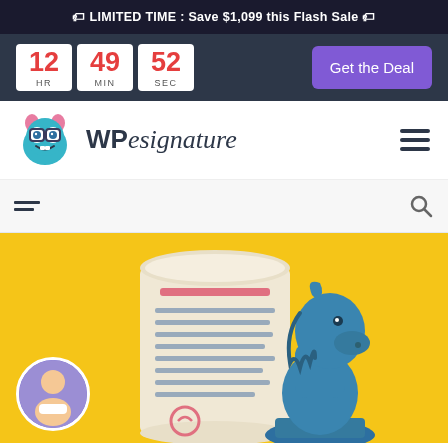🏷 LIMITED TIME : Save $1,099 this Flash Sale 🏷
[Figure (infographic): Countdown timer showing 12 HR, 49 MIN, 52 SEC in white boxes with red numbers on dark background, with a purple 'Get the Deal' button]
[Figure (logo): WPesignature logo: a blue cartoon monster with pink horns and glasses next to stylized text 'WPesignature', with a hamburger menu icon on the right]
[Figure (screenshot): Sub-navigation bar with hamburger icon on left and search icon on right]
[Figure (illustration): Yellow-background hero image with a scroll/document illustration and a blue chess knight piece, plus a circular avatar photo in the bottom-left corner]